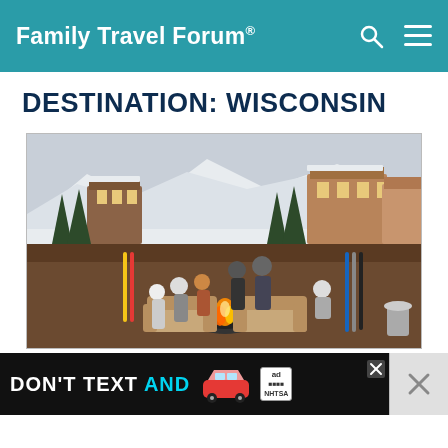Family Travel Forum®
DESTINATION: WISCONSIN
[Figure (photo): Families and adults gathered around an outdoor fire pit on a terrace at a ski resort, with ski slopes, snow-covered trees, and lodge buildings visible in the background. Skis are leaned against a fence. People are bundled in winter clothing.]
[Figure (other): Advertisement banner: DON'T TEXT AND [car icon] with ad badge and NHTSA logo on dark background]